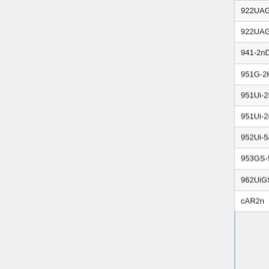|  |  |  |  |
| --- | --- | --- | --- |
| 922UAGS-5HPacD /-NM | 1 | 4920-6100 | 20,40,8 |
| 922UAGS-5HPacT /-NM | 1 | 4920-6100 | 20,40,8 |
| 941-2nD /-TC | 1 | 2312-2732 | 20,40 |
| 951G-2HnD | 1 | 2312-2732 | 20,40 |
| 951Ui-2HnD | 1 | 2312-2732 | 20,40 |
| 951Ui-2nD | 1 | 2312-2732 | 20,40 |
| 952Ui-5ac2nD /-TC | 2 | 2312-2732,4920-6100 | 20,40 a 20,40,8 |
| 953GS-5HnT /-RP | 1 | 4920-6100 | 5,10,20 |
| 962UiGS-5HacT2HnT | 2 | 2312-2732,4920-6100 | 20,40 a 20,40,8 |
| cAR2n | 1 | 2312-2732 | 20,40 |